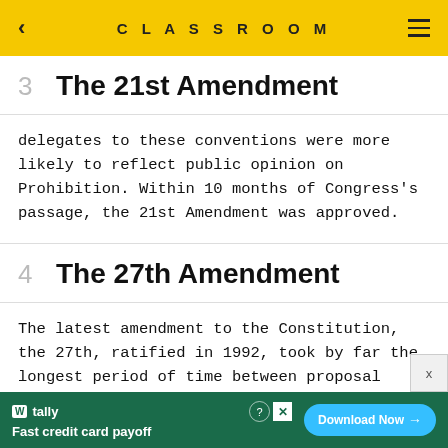CLASSROOM
3  The 21st Amendment
delegates to these conventions were more likely to reflect public opinion on Prohibition. Within 10 months of Congress's passage, the 21st Amendment was approved.
4  The 27th Amendment
The latest amendment to the Constitution, the 27th, ratified in 1992, took by far the longest period of time between proposal and ratification: 74,003 days, or about
tally — Fast credit card payoff  Download Now →